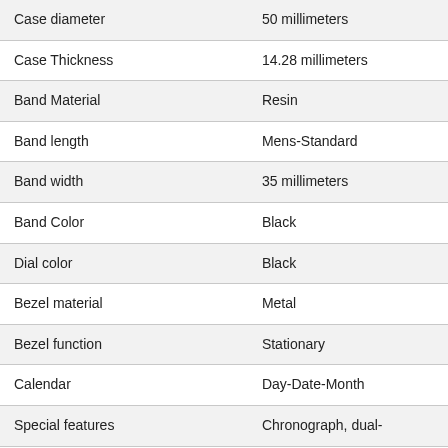| Attribute | Value |
| --- | --- |
| Case diameter | 50 millimeters |
| Case Thickness | 14.28 millimeters |
| Band Material | Resin |
| Band length | Mens-Standard |
| Band width | 35 millimeters |
| Band Color | Black |
| Dial color | Black |
| Bezel material | Metal |
| Bezel function | Stationary |
| Calendar | Day-Date-Month |
| Special features | Chronograph, dual- |
| Item weight | 7.05 Ounces |
| Movement | Japanese Quartz |
| Water resistant depth | 660 Feet |